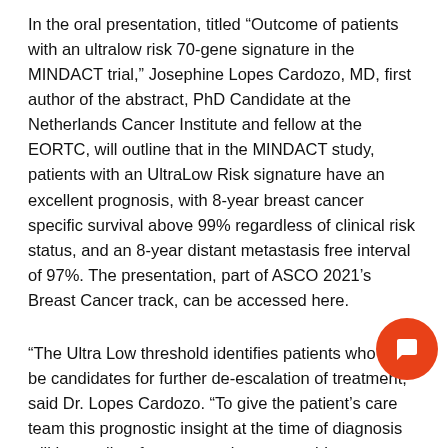In the oral presentation, titled “Outcome of patients with an ultralow risk 70-gene signature in the MINDACT trial,” Josephine Lopes Cardozo, MD, first author of the abstract, PhD Candidate at the Netherlands Cancer Institute and fellow at the EORTC, will outline that in the MINDACT study, patients with an UltraLow Risk signature have an excellent prognosis, with 8-year breast cancer specific survival above 99% regardless of clinical risk status, and an 8-year distant metastasis free interval of 97%. The presentation, part of ASCO 2021’s Breast Cancer track, can be accessed here.
“The Ultra Low threshold identifies patients who may be candidates for further de-escalation of treatment,” said Dr. Lopes Cardozo. “To give the patient’s care team this prognostic insight at the time of diagnosis will hope allow for many patients to avoid over treatment and further
[Figure (other): Orange circular chat/comment button icon in the bottom-right area of the page]